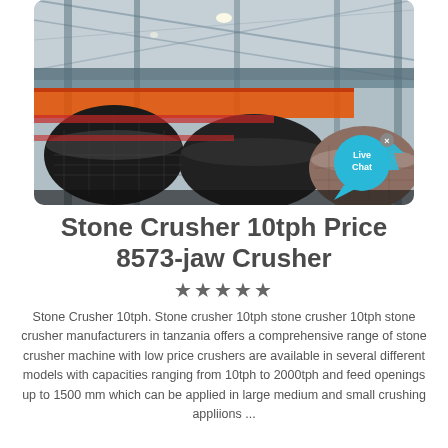[Figure (photo): Industrial stone crushing plant interior showing large cylindrical rollers/drums in red and black, conveyor systems, steel structural framework and roof, photographed from below looking upward at machinery.]
Stone Crusher 10tph Price 8573-jaw Crusher
★★★★★
Stone Crusher 10tph. Stone crusher 10tph stone crusher 10tph stone crusher manufacturers in tanzania offers a comprehensive range of stone crusher machine with low price crushers are available in several different models with capacities ranging from 10tph to 2000tph and feed openings up to 1500 mm which can be applied in large medium and small crushing appliions ...